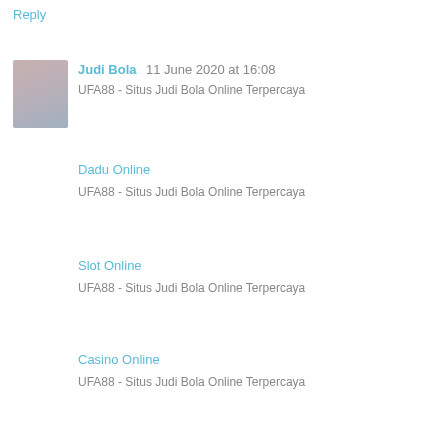Reply
Judi Bola  11 June 2020 at 16:08
UFA88 - Situs Judi Bola Online Terpercaya
Dadu Online
UFA88 - Situs Judi Bola Online Terpercaya
Slot Online
UFA88 - Situs Judi Bola Online Terpercaya
Casino Online
UFA88 - Situs Judi Bola Online Terpercaya